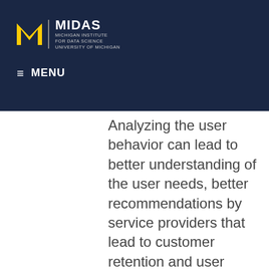[Figure (logo): MIDAS Michigan Institute for Data Science, University of Michigan logo with block M symbol on dark navy header]
≡ MENU
Analyzing the user behavior can lead to better understanding of the user needs, better recommendations by service providers that lead to customer retention and user satisfaction, as well as detection of outlying behaviors and events (e.g., malicious actions or significant life events). Our current focus is on understanding career changes and predicting job